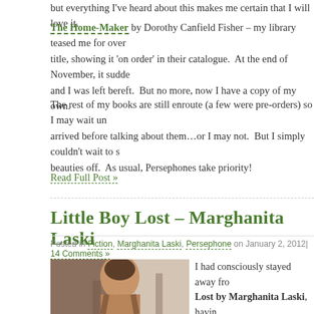but everything I've heard about this makes me certain that I will love it.
The Home-Maker by Dorothy Canfield Fisher – my library teased me for over a year with this title, showing it 'on order' in their catalogue. At the end of November, it sudde… and I was left bereft. But no more, now I have a copy of my own.
The rest of my books are still enroute (a few were pre-orders) so I may wait un… arrived before talking about them…or I may not. But I simply couldn't wait to s… beauties off. As usual, Persephones take priority!
Read Full Post »
Little Boy Lost – Marghanita Laski
Posted in Fiction, Marghanita Laski, Persephone on January 2, 2012| 14 Comments »
[Figure (photo): Painting of a young man with dark hair resting his chin on his hand, looking downward pensively. Oil painting style with muted earth tones.]
I had consciously stayed away fro… Lost by Marghanita Laski, havin… the idea into my head that it not a… I'd like. But it is one of the few Pe… library owns so I decided that one… encourage such acquisitions by a… them. I could not have been mo…